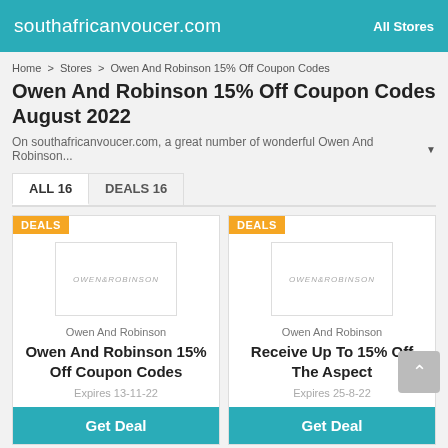southafricanvoucer.com   All Stores
Home > Stores > Owen And Robinson 15% Off Coupon Codes
Owen And Robinson 15% Off Coupon Codes August 2022
On southafricanvoucer.com, a great number of wonderful Owen And Robinson...
ALL 16   DEALS 16
[Figure (screenshot): Owen And Robinson deal card showing logo placeholder, store name, deal title 'Owen And Robinson 15% Off Coupon Codes', expiry 'Expires 13-11-22', and Get Deal button. DEALS badge in orange top-left.]
[Figure (screenshot): Owen And Robinson deal card showing logo placeholder, store name, deal title 'Receive Up To 15% Off The Aspect', expiry 'Expires 25-8-22', and Get Deal button. DEALS badge in orange top-left.]